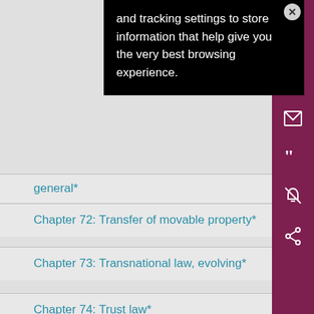and tracking settings to store information that help give you the very best browsing experience.
general*
Chapter 72: Transfer of movable property*
Chapter 73: Transnational law, evolving*
Chapter 74: Trust law*
Chapter 75: Turkey
Chapter 76: Unjustified enrichment